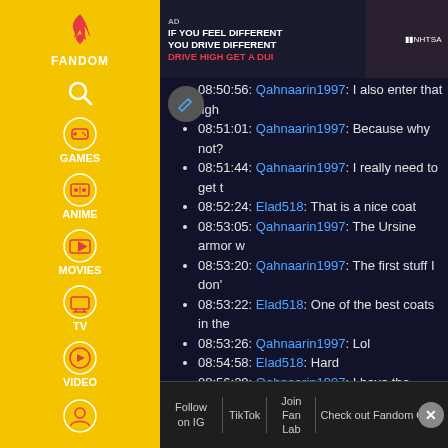[Figure (screenshot): Fandom website sidebar with navigation icons for Games, Anime, Movies, TV, Video categories on yellow background]
[Figure (screenshot): Ad banner at top: 'If you feel different you drive different. Drive high, get a DUI.' NHTSA. Dark background with person's face.]
08:50:56: Qahnaarin1997: I also enter that figh
08:51:01: Qahnaarin1997: Because why not?
08:51:44: Qahnaarin1997: I really need to get t
08:52:24: Elad518: That is a nice coat
08:53:05: Qahnaarin1997: The Ursine armor w
08:53:20: Qahnaarin1997: The first stuff I don't
08:53:22: Elad518: One of the best coats in the
08:53:26: Qahnaarin1997: Lol
08:54:58: Elad518: Hard
08:56:20: Qahnaarin1997: I have the sudden u sword slashing at people.
08:59:47: Qahnaarin1997: Do you mean in bloo
09:00:20: Qahnaarin1997: AH
09:00:27: Qahnaarin1997: After finding Dandel
Follow on IG | TikTok | Join Fan Lab | Check out Fandom Quizzes and cha